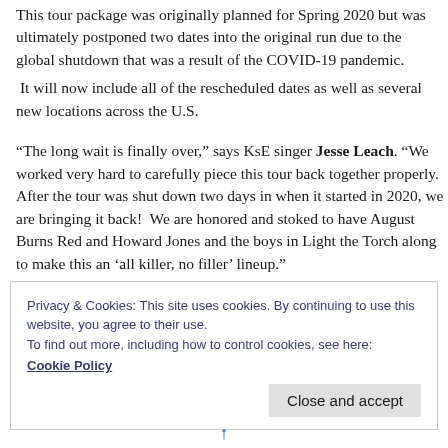This tour package was originally planned for Spring 2020 but was ultimately postponed two dates into the original run due to the global shutdown that was a result of the COVID-19 pandemic.
It will now include all of the rescheduled dates as well as several new locations across the U.S.
“The long wait is finally over,” says KsE singer Jesse Leach. “We worked very hard to carefully piece this tour back together properly. After the tour was shut down two days in when it started in 2020, we are bringing it back!  We are honored and stoked to have August Burns Red and Howard Jones and the boys in Light the Torch along to make this an ‘all killer, no filler’ lineup.”
Privacy & Cookies: This site uses cookies. By continuing to use this website, you agree to their use.
To find out more, including how to control cookies, see here:
Cookie Policy
Close and accept